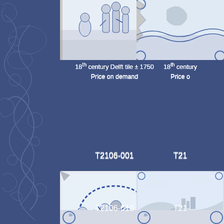[Figure (photo): Delft tile T2106-001, top portion showing biblical figures scene in blue and white, 18th century]
18th century Delft tile ± 1750
Price on demand
T2106-001
[Figure (photo): Delft tile T2106 right top, partial view of blue and white Delft tile, 18th century]
18th century
Price o
T21
[Figure (photo): Large Delft tile T2106-010, biblical scene with many figures under an arch, blue and white, 18th century ± 1750]
18th century Delft tile ± 1750
Price on demand
T2106-010
[Figure (photo): Right middle Delft tile, landscape scene with figure, blue and white, 18th century]
18th century
Price o
T21
[Figure (photo): Bottom left partial Delft tile, blue and white corner motifs visible]
[Figure (photo): Bottom right partial Delft tile, blue and white corner motifs visible]